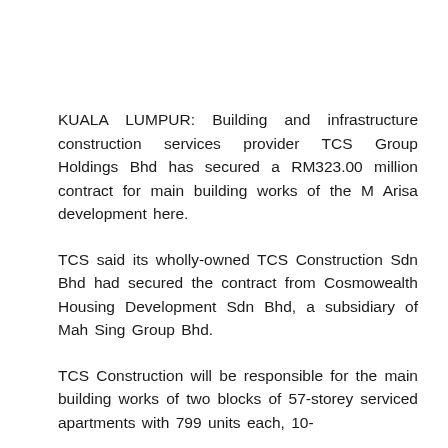KUALA LUMPUR: Building and infrastructure construction services provider TCS Group Holdings Bhd has secured a RM323.00 million contract for main building works of the M Arisa development here.
TCS said its wholly-owned TCS Construction Sdn Bhd had secured the contract from Cosmowealth Housing Development Sdn Bhd, a subsidiary of Mah Sing Group Bhd.
TCS Construction will be responsible for the main building works of two blocks of 57-storey serviced apartments with 799 units each, 10-